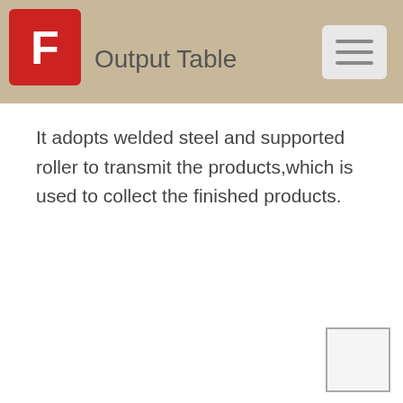Output Table
It adopts welded steel and supported roller to transmit the products,which is used to collect the finished products.